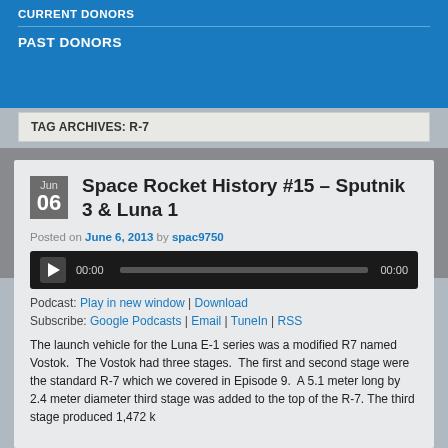CURRENT DONORS
PAST DONORS
TAG ARCHIVES: R-7
Space Rocket History #15 – Sputnik 3 & Luna 1
Posted on June 6, 2013 by spac9750
[Figure (other): Audio player with play button, time 00:00, progress bar, end time 00:00]
Podcast: Play in new window | Download
Subscribe: Google Podcasts | Email | TuneIn | RSS
The launch vehicle for the Luna E-1 series was a modified R7 named Vostok.  The Vostok had three stages.  The first and second stage were the standard R-7 which we covered in Episode 9.  A 5.1 meter long by 2.4 meter diameter third stage was added to the top of the R-7. The third stage produced 1,472 k...